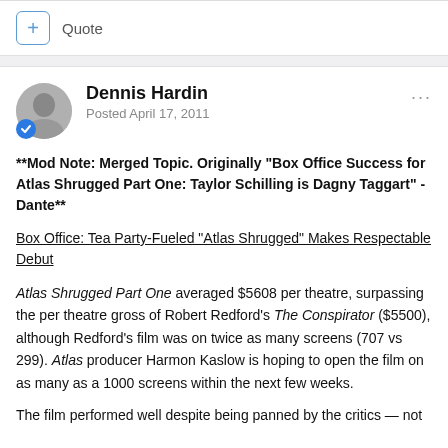+ Quote
Dennis Hardin
Posted April 17, 2011
**Mod Note: Merged Topic. Originally "Box Office Success for Atlas Shrugged Part One: Taylor Schilling is Dagny Taggart" -Dante**
Box Office: Tea Party-Fueled “Atlas Shrugged” Makes Respectable Debut
Atlas Shrugged Part One averaged $5608 per theatre, surpassing the per theatre gross of Robert Redford’s The Conspirator ($5500), although Redford’s film was on twice as many screens (707 vs 299). Atlas producer Harmon Kaslow is hoping to open the film on as many as a 1000 screens within the next few weeks.
The film performed well despite being panned by the critics — not